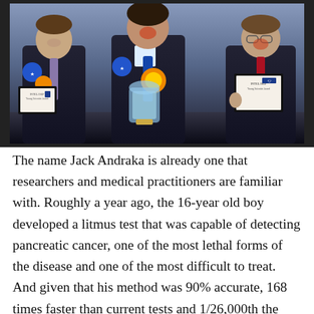[Figure (photo): Three young men in suits celebrating at what appears to be a science fair or award ceremony. The center person holds a large crystal trophy and has award ribbons. The left and right persons each hold framed certificates. All three are laughing and celebrating.]
The name Jack Andraka is already one that researchers and medical practitioners are familiar with. Roughly a year ago, the 16-year old boy developed a litmus test that was capable of detecting pancreatic cancer, one of the most lethal forms of the disease and one of the most difficult to treat. And given that his method was 90% accurate, 168 times faster than current tests and 1/26,000th the cost, it's title wonder why he's considered